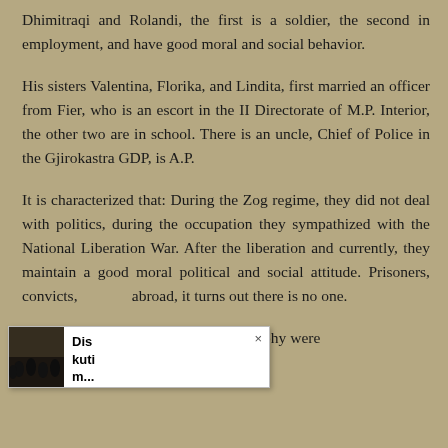Dhimitraqi and Rolandi, the first is a soldier, the second in employment, and have good moral and social behavior.
His sisters Valentina, Florika, and Lindita, first married an officer from Fier, who is an escort in the II Directorate of M.P. Interior, the other two are in school. There is an uncle, Chief of Police in the Gjirokastra GDP, is A.P.
It is characterized that: During the Zog regime, they did not deal with politics, during the occupation they sympathized with the National Liberation War. After the liberation and currently, they maintain a good moral political and social attitude. Prisoners, convicts, abroad, it turns out there is no one.
e compilation of this biography were